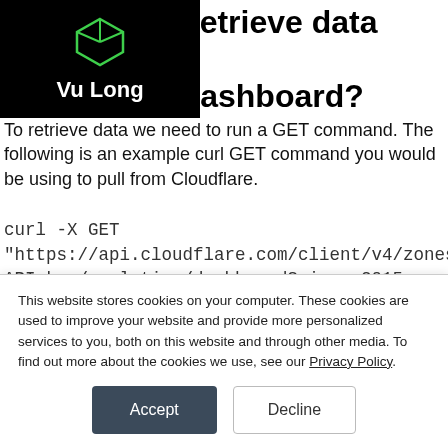How do we retrieve data from the Analytics Dashboard?
[Figure (logo): Black box logo with green cube icon and 'Vu Long' text in white, with hamburger menu icon]
To retrieve data we need to run a GET command. The following is an example curl GET command you would be using to pull from Cloudflare.
curl -X GET "https://api.cloudflare.com/client/v4/zones/example-API-key/analytics/dashboard?since=2015-01-01T12:23:00Z&until=2015-01-02T12:23:00Z&continuous=true" -H "X-Auth-Email: user@example.com"
This website stores cookies on your computer. These cookies are used to improve your website and provide more personalized services to you, both on this website and through other media. To find out more about the cookies we use, see our Privacy Policy.